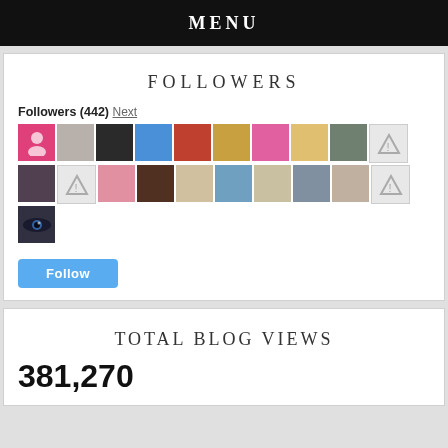MENU
FOLLOWERS
Followers (442) Next
[Figure (photo): Grid of 21 follower avatar thumbnails, some showing profile photos and some showing warning/unavailable icons]
Follow
TOTAL BLOG VIEWS
381,270